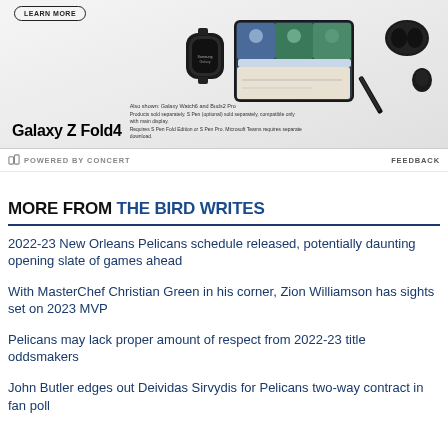[Figure (photo): Samsung Galaxy Z Fold4 advertisement showing the foldable phone alongside Galaxy Watch6 and Buds2 Pro. Text reads 'Galaxy Z Fold4'. Fine print: 'Also shown: Galaxy Watch6 and Buds2 Pro. Products sold separately. S Pen (optional) sold separately, compatible only with main display. Requires S Pen Fold Edition or S Pen Pro. Microsoft Teams requires separate download.' A LEARN MORE button is shown.]
POWERED BY CONCERT
FEEDBACK
MORE FROM THE BIRD WRITES
2022-23 New Orleans Pelicans schedule released, potentially daunting opening slate of games ahead
With MasterChef Christian Green in his corner, Zion Williamson has sights set on 2023 MVP
Pelicans may lack proper amount of respect from 2022-23 title oddsmakers
John Butler edges out Deividas Sirvydis for Pelicans two-way contract in fan poll